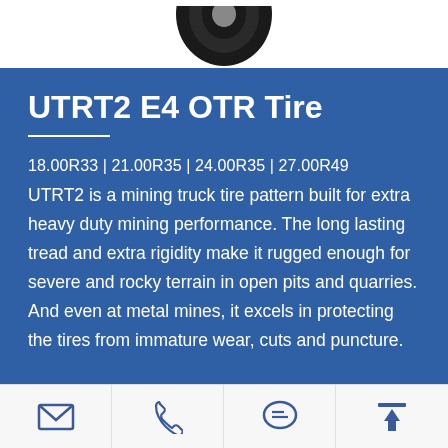[Figure (photo): Partial view of a black OTR mining tire at the top of the page on white background]
UTRT2 E4 OTR Tire
18.00R33|21.00R35|24.00R35|27.00R49
UTRT2 is a mining truck tire pattern built for extra heavy duty mining performance. The long lasting tread and extra rigidity make it rugged enough for severe and rocky terrain in open pits and quarries. And even at metal mines, it excels in protecting the tires from immature wear, cuts and puncture.
Email | Phone | Chat | Upload icons